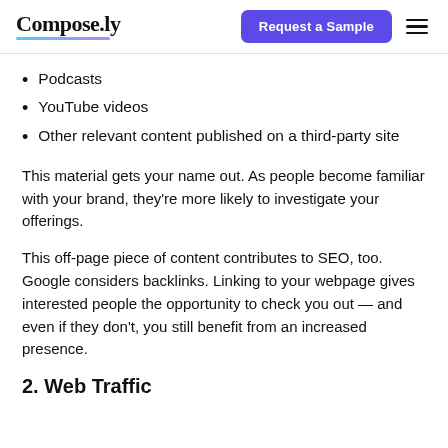Compose.ly | Request a Sample
Podcasts
YouTube videos
Other relevant content published on a third-party site
This material gets your name out. As people become familiar with your brand, they’re more likely to investigate your offerings.
This off-page piece of content contributes to SEO, too. Google considers backlinks. Linking to your webpage gives interested people the opportunity to check you out — and even if they don’t, you still benefit from an increased presence.
2. Web Traffic